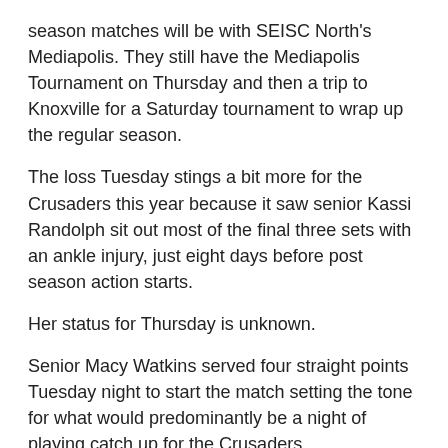season matches will be with SEISC North's Mediapolis. They still have the Mediapolis Tournament on Thursday and then a trip to Knoxville for a Saturday tournament to wrap up the regular season.
The loss Tuesday stings a bit more for the Crusaders this year because it saw senior Kassi Randolph sit out most of the final three sets with an ankle injury, just eight days before post season action starts.
Her status for Thursday is unknown.
Senior Macy Watkins served four straight points Tuesday night to start the match setting the tone for what would predominantly be a night of playing catch up for the Crusaders.
HTC wouldn't get closer than two points in the first set. Randolph dumped a set over the net to cut the lead to 4-6, but Central Lee would put together a 10-6 run capped by a kill from outside hitter Makayla Morrison